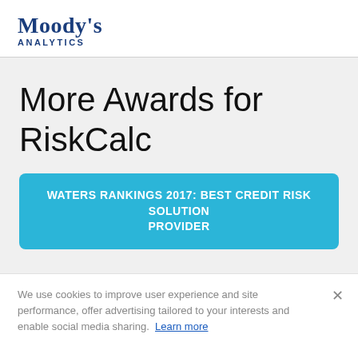[Figure (logo): Moody's Analytics logo in dark blue, with serif 'Moody's' and sans-serif 'ANALYTICS' below]
More Awards for RiskCalc
WATERS RANKINGS 2017: BEST CREDIT RISK SOLUTION PROVIDER
We use cookies to improve user experience and site performance, offer advertising tailored to your interests and enable social media sharing. Learn more